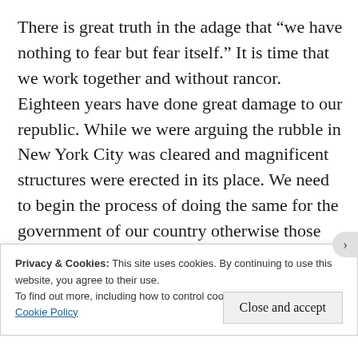There is great truth in the adage that “we have nothing to fear but fear itself.” It is time that we work together and without rancor. Eighteen years have done great damage to our republic. While we were arguing the rubble in New York City was cleared and magnificent structures were erected in its place. We need to begin the process of doing the same for the government of our country otherwise those terrorists will have won. We can’t allow that if for no other reason than to be certain
Privacy & Cookies: This site uses cookies. By continuing to use this website, you agree to their use.
To find out more, including how to control cookies, see here: Cookie Policy
Close and accept